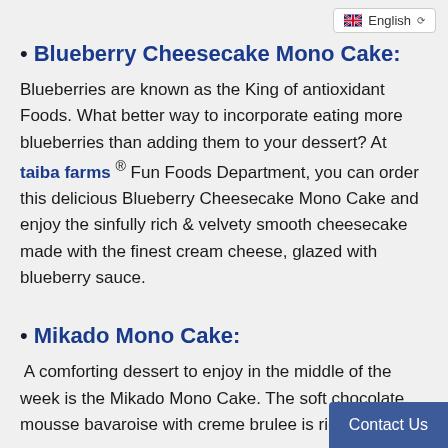English
• Blueberry Cheesecake Mono Cake:
Blueberries are known as the King of antioxidant Foods. What better way to incorporate eating more blueberries than adding them to your dessert? At taiba farms ® Fun Foods Department, you can order this delicious Blueberry Cheesecake Mono Cake and enjoy the sinfully rich & velvety smooth cheesecake made with the finest cream cheese, glazed with blueberry sauce.
• Mikado Mono Cake:
A comforting dessert to enjoy in the middle of the week is the Mikado Mono Cake. The soft chocolate mousse bavaroise with creme brulee is ri… decadent with velvety smooth texture…